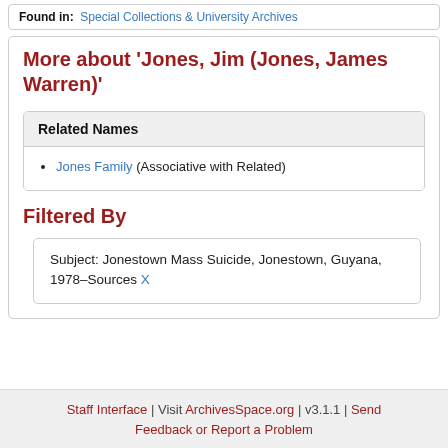Found in: Special Collections & University Archives
More about 'Jones, Jim (Jones, James Warren)'
Related Names
Jones Family (Associative with Related)
Filtered By
Subject: Jonestown Mass Suicide, Jonestown, Guyana, 1978–Sources X
Staff Interface | Visit ArchivesSpace.org | v3.1.1 | Send Feedback or Report a Problem